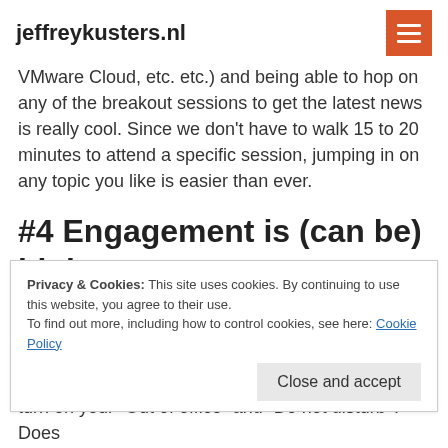jeffreykusters.nl
VMware Cloud, etc. etc.) and being able to hop on any of the breakout sessions to get the latest news is really cool. Since we don't have to walk 15 to 20 minutes to attend a specific session, jumping in on any topic you like is easier than ever.
#4 Engagement is (can be) higher
This is a tricky one. I've seen people debating on Twitter
Privacy & Cookies: This site uses cookies. By continuing to use this website, you agree to their use.
To find out more, including how to control cookies, see here: Cookie Policy
Close and accept
turn on your “Out of office” and “Do not disturb”? Does